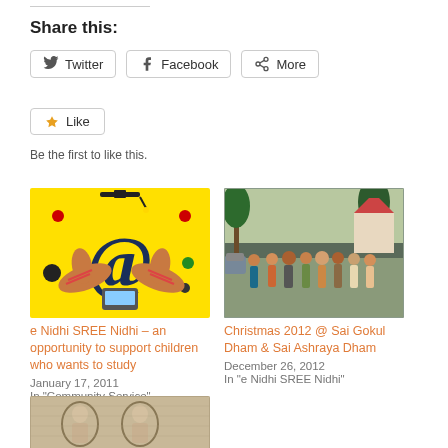Share this:
Twitter  Facebook  More
Like
Be the first to like this.
[Figure (illustration): Yellow illustrated image of hands holding a smartphone with @ symbol, e Nidhi SREE Nidhi promotional graphic]
e Nidhi SREE Nidhi – an opportunity to support children who wants to study
January 17, 2011
In "Community Service"
[Figure (photo): Group photo of people standing outdoors near a decorated structure, Christmas 2012 at Sai Gokul Dham & Sai Ashraya Dham]
Christmas 2012 @ Sai Gokul Dham & Sai Ashraya Dham
December 26, 2012
In "e Nidhi SREE Nidhi"
[Figure (photo): Partial view of a faded artwork or mosaic with figures, bottom of page]